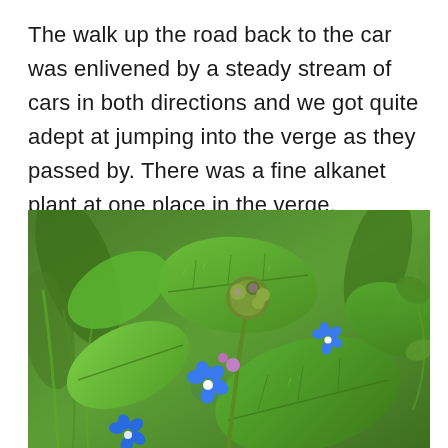The walk up the road back to the car was enlivened by a steady stream of cars in both directions and we got quite adept at jumping into the verge as they passed by. There was a fine alkanet plant at one place in the verge.
[Figure (photo): Close-up photograph of an alkanet plant with bright blue five-petalled flowers and large green textured leaves, with buds visible among the foliage.]